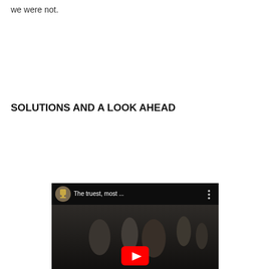we were not.
SOLUTIONS AND A LOOK AHEAD
[Figure (screenshot): Embedded YouTube video thumbnail showing a dark scene with military figures. Video title reads 'The truest, most ...' with a YouTube play button overlaid.]